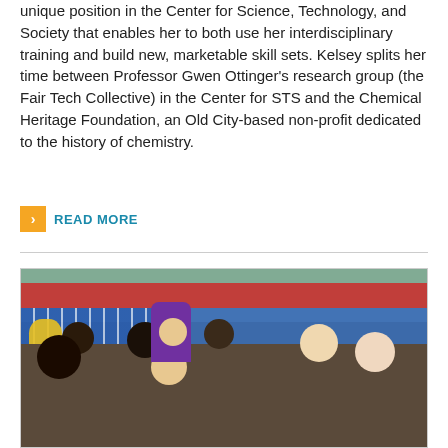unique position in the Center for Science, Technology, and Society that enables her to both use her interdisciplinary training and build new, marketable skill sets. Kelsey splits her time between Professor Gwen Ottinger's research group (the Fair Tech Collective) in the Center for STS and the Chemical Heritage Foundation, an Old City-based non-profit dedicated to the history of chemistry.
READ MORE
[Figure (photo): A woman in a purple top speaking to a crowd of people seated at an outdoor market or community gathering space with blue banners and red signage in the background, appearing to be in China.]